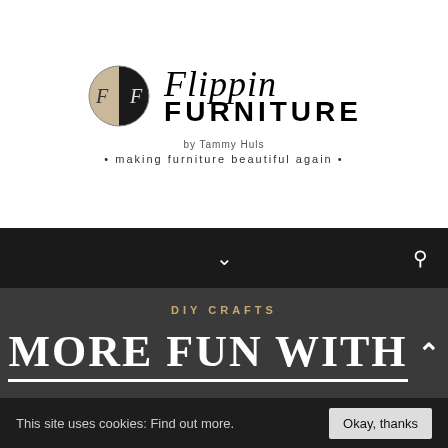[Figure (logo): Flippin Furniture logo by Tammy Huls — circular emblem with FF initials, script 'Flippin' above bold 'FURNITURE', tagline 'making furniture beautiful again']
[Figure (screenshot): Dark navigation bar with down chevron centered and search icon on right]
DIY CRAFTS
MORE FUN WITH
This site uses cookies: Find out more.